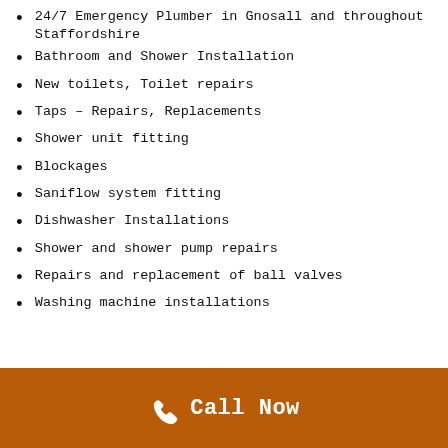24/7 Emergency Plumber in Gnosall and throughout Staffordshire
Bathroom and Shower Installation
New toilets, Toilet repairs
Taps – Repairs, Replacements
Shower unit fitting
Blockages
Saniflow system fitting
Dishwasher Installations
Shower and shower pump repairs
Repairs and replacement of ball valves
Washing machine installations
Call Now